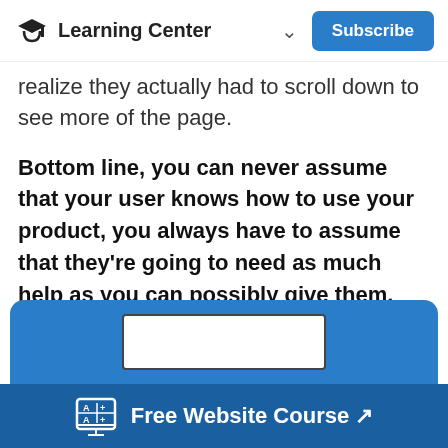Learning Center  ∨  Subscribe
realize they actually had to scroll down to see more of the page.
Bottom line, you can never assume that your user knows how to use your product, you always have to assume that they're going to need as much help as you can possibly give them.
[Figure (screenshot): Blue promotional card with a course screenshot thumbnail at the bottom of the page]
Free Website Course ↗